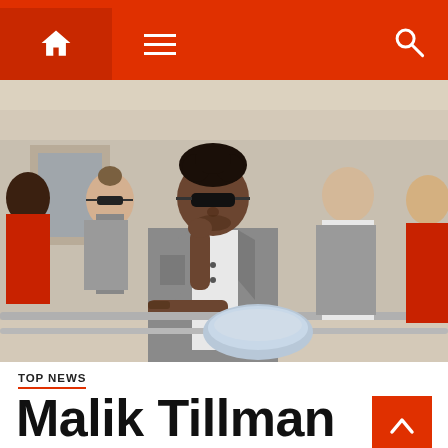Navigation bar with home icon, menu icon, search icon
[Figure (photo): Young man in a grey suit jacket and sunglasses leaning on a railing, with other people around him, holding a football championship trophy. Appears to be a sports celebration parade.]
TOP NEWS
Malik Tillman will...